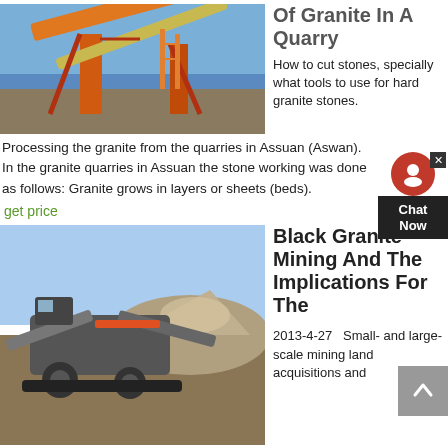[Figure (photo): Industrial quarry conveyor and crane machinery with orange metal structures against a blue sky.]
Of Granite In A Quarry
How to cut stones, specially what tools to use for hard granite stones.
Processing the granite from the quarries in Assuan (Aswan). In the granite quarries in Assuan the stone working was done as follows: Granite grows in layers or sheets (beds).
get price
[Figure (photo): Large mobile mining crushing and screening machine on a dusty mining site with a pile of gravel in the background.]
Black Granite Mining And The Implications For The
2013-4-27   Small- and large-scale mining land acquisitions and mining establishments continue to grow in Zimbabwe, but the